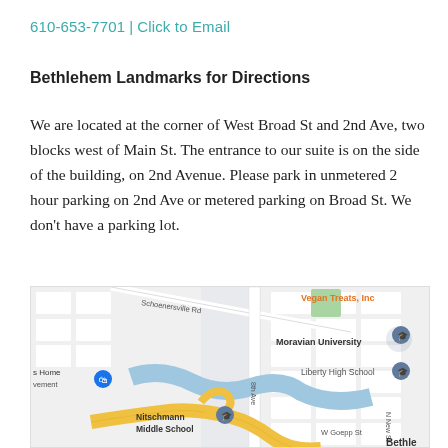610-653-7701 | Click to Email
Bethlehem Landmarks for Directions
We are located at the corner of West Broad St and 2nd Ave, two blocks west of Main St. The entrance to our suite is on the side of the building, on 2nd Avenue. Please park in unmetered 2 hour parking on 2nd Ave or metered parking on Broad St. We don't have a parking lot.
[Figure (map): Google Maps screenshot showing the area around Moravian University in Bethlehem, PA. Visible landmarks include Nitschmann Middle School, Liberty High School, Vegan Treats Inc, and 8th Ave. Roads include Schoenersville Rd and W Goepp St.]